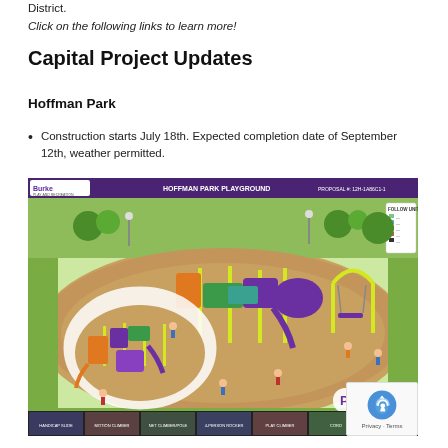District.
Click on the following links to learn more!
Capital Project Updates
Hoffman Park
Construction starts July 18th. Expected completion date of September 12th, weather permitted.
[Figure (illustration): Architectural rendering of Hoffman Park Playground showing playground equipment including slides, climbing structures, and swings in purple, yellow, and green colors on a tan/brown rubberized surface surrounded by green grass. Logo for Burke Play and Recreation Solutions visible in top left. Title reads HOFFMAN PARK PLAYGROUND. Bottom strip shows multiple photos of children on playground equipment. A reCAPTCHA badge is visible in the bottom right corner.]